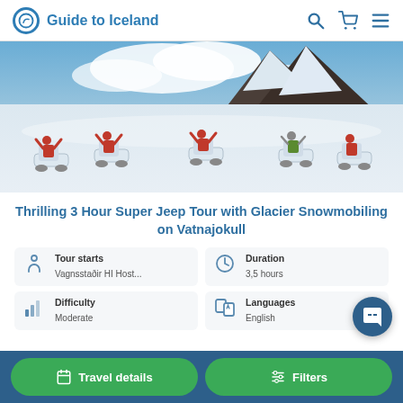Guide to Iceland
[Figure (photo): Group of people on snowmobiles on a glacier with snowy mountains and blue sky in the background]
Thrilling 3 Hour Super Jeep Tour with Glacier Snowmobiling on Vatnajokull
Tour starts: Vagnsstaðir HI Host...
Duration: 3,5 hours
Difficulty: Moderate
Languages: English
Travel details | Filters